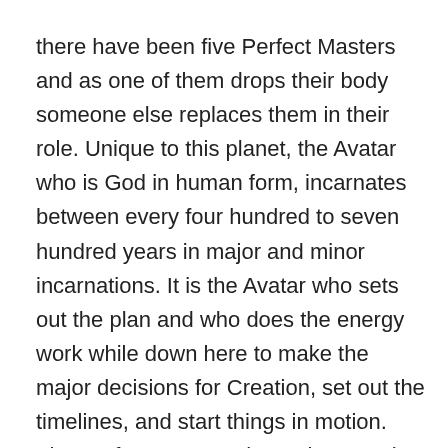there have been five Perfect Masters and as one of them drops their body someone else replaces them in their role. Unique to this planet, the Avatar who is God in human form, incarnates between every four hundred to seven hundred years in major and minor incarnations. It is the Avatar who sets out the plan and who does the energy work while down here to make the major decisions for Creation, set out the timelines, and start things in motion. The Perfect Masters then take over the helm. The influence of the Avatar and the Perfect Masters is felt throughout Creation.
Humanity is an interesting form of life. Souls can incarnate into human form and follow this path through to reach the goal of God realisation. Humanity has evolved through history and ancient history. With each evolution new chakras or centres were developed, and became